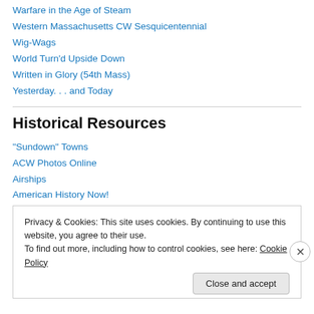Warfare in the Age of Steam
Western Massachusetts CW Sesquicentennial
Wig-Wags
World Turn'd Upside Down
Written in Glory (54th Mass)
Yesterday. . . and Today
Historical Resources
"Sundown" Towns
ACW Photos Online
Airships
American History Now!
Privacy & Cookies: This site uses cookies. By continuing to use this website, you agree to their use.
To find out more, including how to control cookies, see here: Cookie Policy
Close and accept